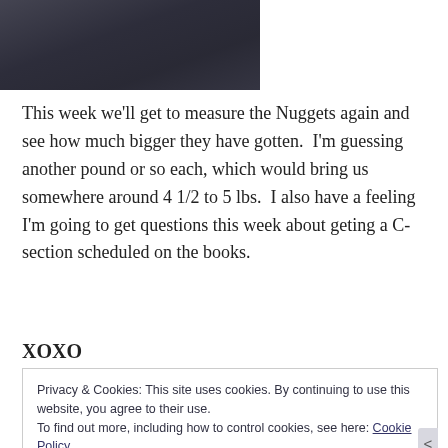[Figure (photo): Cropped photo of dark fabric or clothing, showing top portion only]
This week we'll get to measure the Nuggets again and see how much bigger they have gotten.  I'm guessing another pound or so each, which would bring us somewhere around 4 1/2 to 5 lbs.  I also have a feeling I'm going to get questions this week about geting a C-section scheduled on the books.
XOXO
Privacy & Cookies: This site uses cookies. By continuing to use this website, you agree to their use.
To find out more, including how to control cookies, see here: Cookie Policy
Close and accept